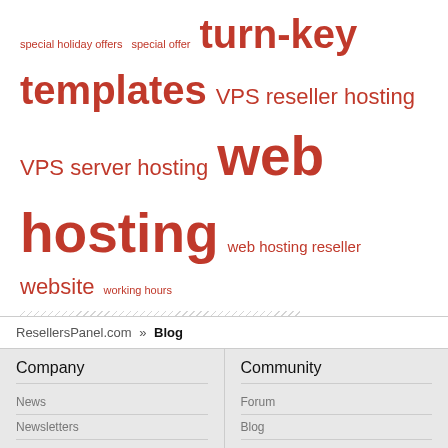special holiday offers  special offer  turn-key templates  VPS reseller hosting  VPS server hosting  web hosting  web hosting reseller  website  working hours
Meta
Register
Log in
ResellersPanel.com » Blog
Company  Community  News  Forum  Newsletters  Blog